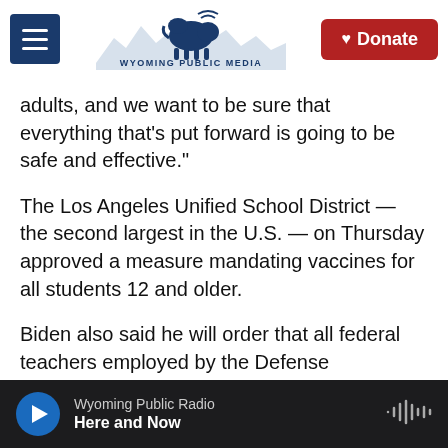[Figure (screenshot): Wyoming Public Media logo with bison and mountain range silhouette]
adults, and we want to be sure that everything that's put forward is going to be safe and effective."
The Los Angeles Unified School District — the second largest in the U.S. — on Thursday approved a measure mandating vaccines for all students 12 and older.
Biden also said he will order that all federal teachers employed by the Defense Department, Head Start and Early Head Start programs, and teachers and staff at Bureau of Indian Education-operated schools get vaccinated.
Wyoming Public Radio — Here and Now